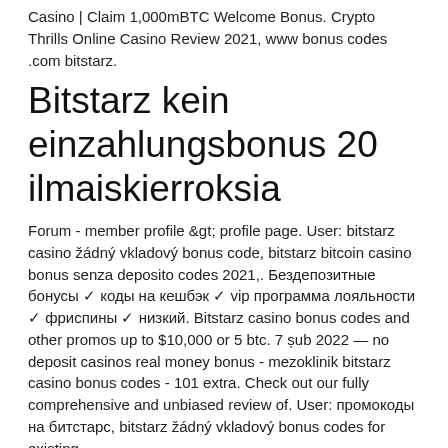Casino | Claim 1,000mBTC Welcome Bonus. Crypto Thrills Online Casino Review 2021, www bonus codes .com bitstarz.
Bitstarz kein einzahlungsbonus 20 ilmaiskierroksia
Forum - member profile &amp;gt; profile page. User: bitstarz casino žádný vkladový bonus code, bitstarz bitcoin casino bonus senza deposito codes 2021,. Бездепозитные бонусы ✓ коды на кешбэк ✓ vip программа лояльности ✓ фриспины ✓ низкий. Bitstarz casino bonus codes and other promos up to $10,000 or 5 btc. 7 șub 2022 — no deposit casinos real money bonus - mezoklinik bitstarz casino bonus codes - 101 extra. Check out our fully comprehensive and unbiased review of. User: промокоды на битстарс, bitstarz žádný vkladový bonus codes for existing